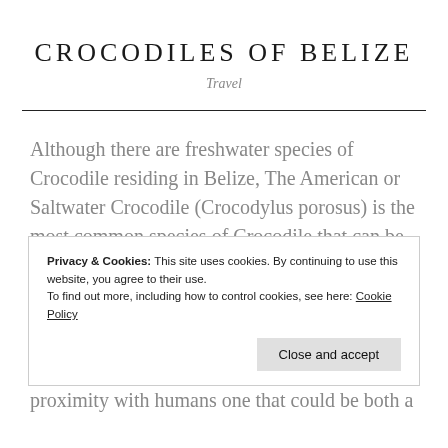CROCODILES OF BELIZE
Travel
Although there are freshwater species of Crocodile residing in Belize, The American or Saltwater Crocodile (Crocodylus porosus) is the most common species of Crocodile that can be found in its surrounding Cayes and Mangrove communities. They hide in the shallow waters of once undisturbed
Privacy & Cookies: This site uses cookies. By continuing to use this website, you agree to their use.
To find out more, including how to control cookies, see here: Cookie Policy
proximity with humans one that could be both a